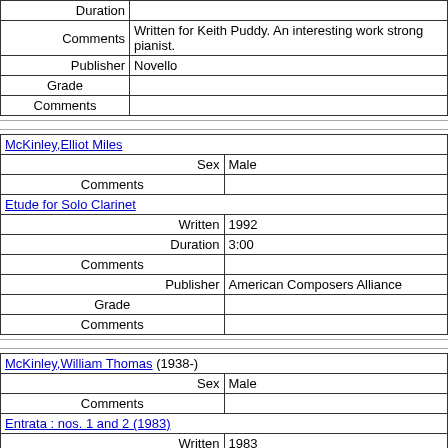| Duration |  |
| Comments | Written for Keith Puddy. An interesting work strong pianist. |
| Publisher | Novello |
| Grade |  |
| Comments |  |
| McKinley, Elliot Miles |
| --- |
| Sex | Male |
| Comments |  |
| Etude for Solo Clarinet |
| --- |
| Written | 1992 |
| Duration | 3:00 |
| Comments |  |
| Publisher | American Composers Alliance |
| Grade |  |
| Comments |  |
| McKinley, William Thomas (1938-) |
| --- |
| Sex | Male |
| Comments |  |
| Entrata : nos. 1 and 2 (1983) |
| --- |
| Written | 1983 |